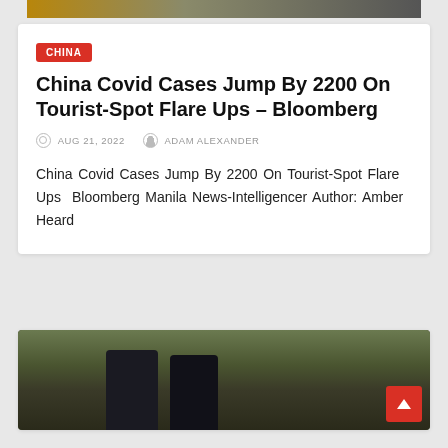[Figure (photo): Top portion of a photo showing a landscape or scene, cropped to a thin strip at the top of the page]
CHINA
China Covid Cases Jump By 2200 On Tourist-Spot Flare Ups – Bloomberg
AUG 21, 2022   ADAM ALEXANDER
China Covid Cases Jump By 2200 On Tourist-Spot Flare Ups  Bloomberg Manila News-Intelligencer Author: Amber Heard
[Figure (photo): Photo showing legs and boots of a person walking on sandy/grassy ground, lower body only visible]